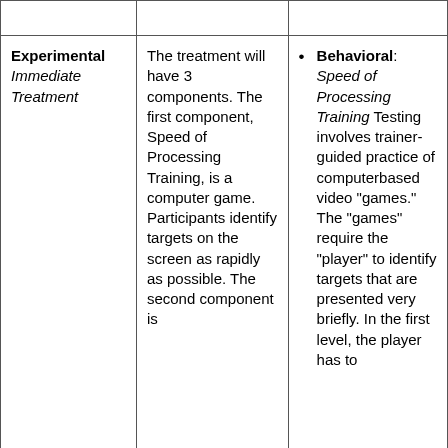|  |  |  |
| --- | --- | --- |
|  |  |  |
| Experimental Immediate Treatment | The treatment will have 3 components. The first component, Speed of Processing Training, is a computer game. Participants identify targets on the screen as rapidly as possible. The second component is | Behavioral: Speed of Processing Training Testing involves trainer-guided practice of computerbased video "games." The "games" require the "player" to identify targets that are presented very briefly. In the first level, the player has to |